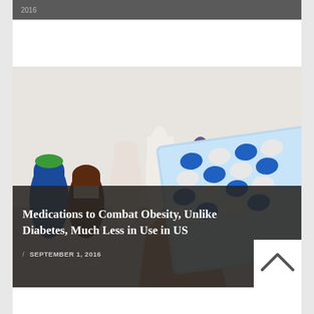2016
[Figure (photo): Hand holding a blister pack of blue and white capsule pills, with various medicine bottles in the background including brown, white, and red pill bottles.]
Medications to Combat Obesity, Unlike Diabetes, Much Less in Use in US
/ SEPTEMBER 1, 2016